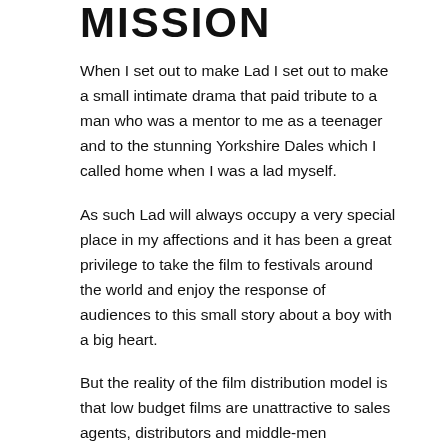MISSION
When I set out to make Lad I set out to make a small intimate drama that paid tribute to a man who was a mentor to me as a teenager and to the stunning Yorkshire Dales which I called home when I was a lad myself.
As such Lad will always occupy a very special place in my affections and it has been a great privilege to take the film to festivals around the world and enjoy the response of audiences to this small story about a boy with a big heart.
But the reality of the film distribution model is that low budget films are unattractive to sales agents, distributors and middle-men